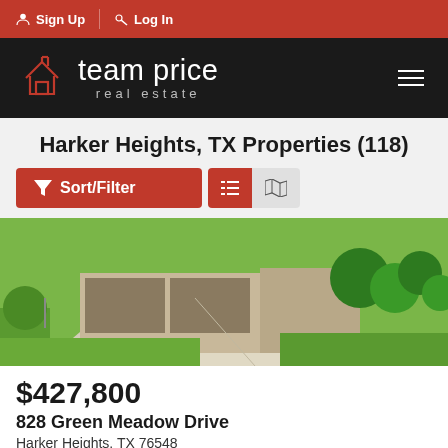Sign Up  Log In
[Figure (logo): Team Price Real Estate logo — house icon outline in red on dark background with text 'team price real estate']
Harker Heights, TX Properties (118)
[Figure (photo): Exterior photo of a residential property showing a concrete driveway, attached garage, green lawn, and trees]
$427,800
828 Green Meadow Drive
Harker Heights, TX 76548
For Sale  |  2,195 sqft  |  4 beds  |  2 baths  |  0.1844 acres  |  #477808